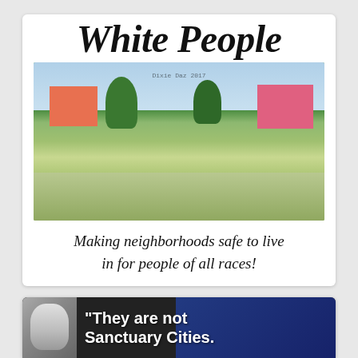[Figure (illustration): Meme card with cursive title 'White People' above a vintage 1950s suburban neighborhood illustration showing houses, trees, and people, with text below reading 'Making neighborhoods safe to live in for people of all races!']
[Figure (photo): Partially visible meme card with black and white photo of a person on the left and American flag background on right, with text '"They are not Sanctuary Cities.']